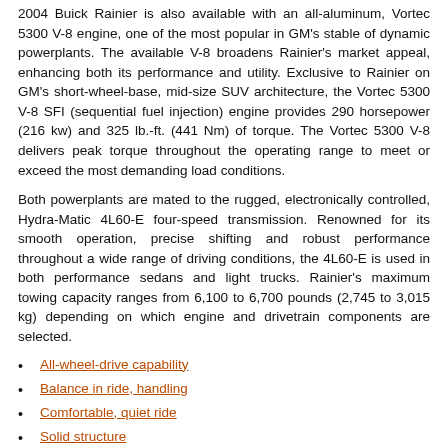2004 Buick Rainier is also available with an all-aluminum, Vortec 5300 V-8 engine, one of the most popular in GM's stable of dynamic powerplants. The available V-8 broadens Rainier's market appeal, enhancing both its performance and utility. Exclusive to Rainier on GM's short-wheel-base, mid-size SUV architecture, the Vortec 5300 V-8 SFI (sequential fuel injection) engine provides 290 horsepower (216 kw) and 325 lb.-ft. (441 Nm) of torque. The Vortec 5300 V-8 delivers peak torque throughout the operating range to meet or exceed the most demanding load conditions.
Both powerplants are mated to the rugged, electronically controlled, Hydra-Matic 4L60-E four-speed transmission. Renowned for its smooth operation, precise shifting and robust performance throughout a wide range of driving conditions, the 4L60-E is used in both performance sedans and light trucks. Rainier's maximum towing capacity ranges from 6,100 to 6,700 pounds (2,745 to 3,015 kg) depending on which engine and drivetrain components are selected.
All-wheel-drive capability
Balance in ride, handling
Comfortable, quiet ride
Solid structure